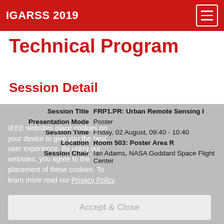IGARSS 2019
Technical Program
Session Detail
| Session Title | FRP1.PR: Urban Remote Sensing I |
| Presentation Mode | Poster |
| Session Time | Friday, 02 August, 09:40 - 10:40 |
| Location | Room 503: Poster Area R |
| Session Chair | Ian Adams, NASA Goddard Space Flight Center |
IEEE websites place cookies on your device to give you the best user experience. By using our websites, you agree to the placement of these cookies. To learn more read our Privacy Policy.
Accept & Close